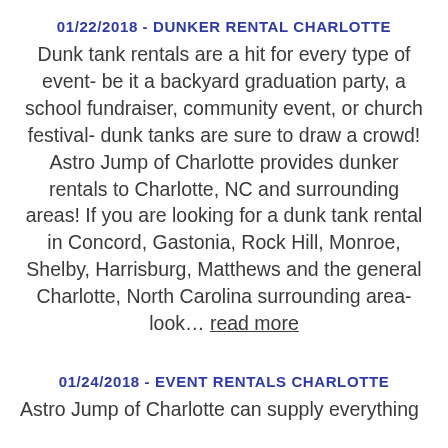01/22/2018 - DUNKER RENTAL CHARLOTTE
Dunk tank rentals are a hit for every type of event- be it a backyard graduation party, a school fundraiser, community event, or church festival- dunk tanks are sure to draw a crowd! Astro Jump of Charlotte provides dunker rentals to Charlotte, NC and surrounding areas! If you are looking for a dunk tank rental in Concord, Gastonia, Rock Hill, Monroe, Shelby, Harrisburg, Matthews and the general Charlotte, North Carolina surrounding area- look… read more
01/24/2018 - EVENT RENTALS CHARLOTTE
Astro Jump of Charlotte can supply everything